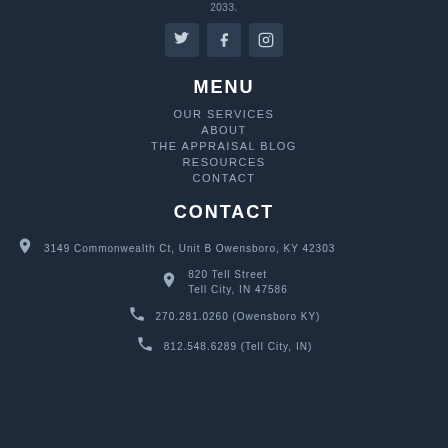2033.
[Figure (other): Social media icons: Twitter, Facebook, Instagram]
MENU
OUR SERVICES
ABOUT
THE APPRAISAL BLOG
RESOURCES
CONTACT
CONTACT
3149 Commonwealth Ct, Unit B Owensboro, KY 42303
820 Tell Street
Tell City, IN 47586
270.281.0260 (Owensboro KY)
812.548.6289 (Tell City, IN)